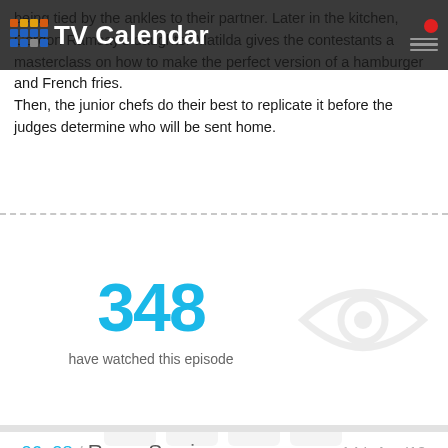TV Calendar
...being tied by the ankles to their partner. Later in the kitchen, Gordon Ramsay's daughter Matilda gives the contestants a masterclass on how to make the perfect version of a hamburger and French fries. Then, the junior chefs do their best to replicate it before the judges determine who will be sent home.
348 have watched this episode
s06e08 / Room Service   14th Apr '18 -
[Figure (illustration): Large light gray TV/calendar icon watermark placeholder for episode without image]